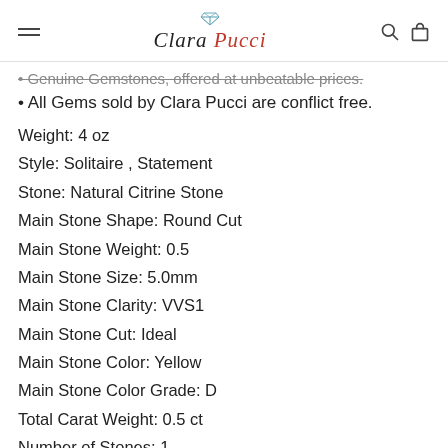Clara Pucci
• Genuine Gemstones, offered at unbeatable prices.
• All Gems sold by Clara Pucci are conflict free.
Weight: 4 oz
Style: Solitaire , Statement
Stone: Natural Citrine Stone
Main Stone Shape: Round Cut
Main Stone Weight: 0.5
Main Stone Size: 5.0mm
Main Stone Clarity: VVS1
Main Stone Cut: Ideal
Main Stone Color: Yellow
Main Stone Color Grade: D
Total Carat Weight: 0.5 ct
Number of Stones: 1
Setting Type: Prong Setting